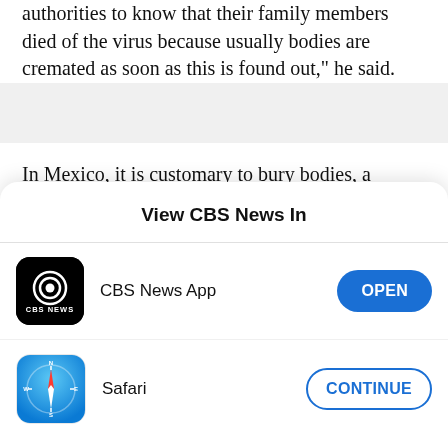authorities to know that their family members died of the virus because usually bodies are cremated as soon as this is found out," he said.
In Mexico, it is customary to bury bodies, a choice that's made for religious reasons in a country that's more than 90% Catholic.
View CBS News In
CBS News App
Safari